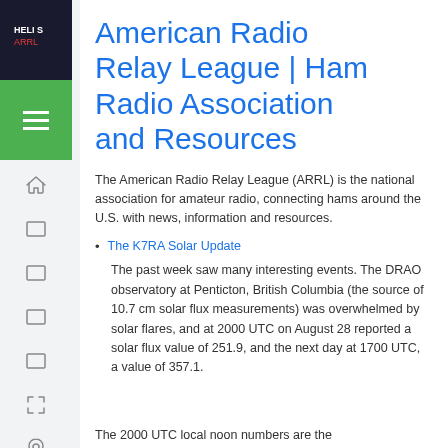American Radio Relay League | Ham Radio Association and Resources
The American Radio Relay League (ARRL) is the national association for amateur radio, connecting hams around the U.S. with news, information and resources.
The K7RA Solar Update
The past week saw many interesting events. The DRAO observatory at Penticton, British Columbia (the source of 10.7 cm solar flux measurements) was overwhelmed by solar flares, and at 2000 UTC on August 28 reported a solar flux value of 251.9, and the next day at 1700 UTC, a value of 357.1.
The 2000 UTC local noon numbers are the